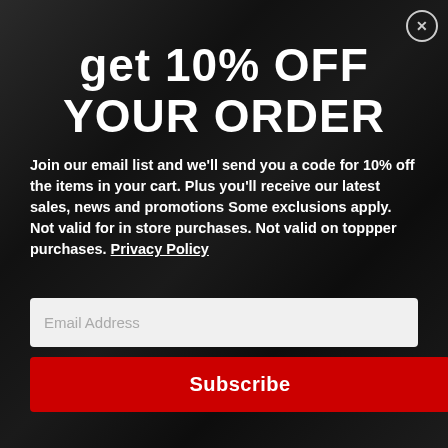get 10% OFF YOUR ORDER
Join our email list and we'll send you a code for 10% off the items in your cart. Plus you'll receive our latest sales, news and promotions Some exclusions apply. Not valid for in store purchases. Not valid on toppper purchases. Privacy Policy
Email Address
Subscribe